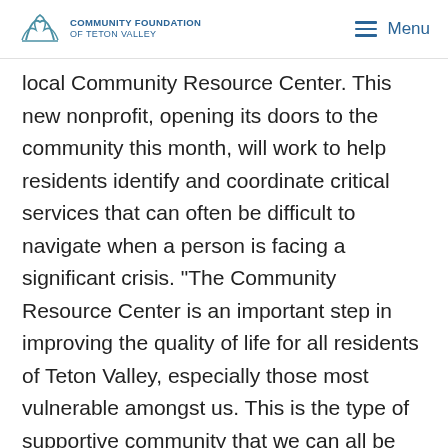COMMUNITY FOUNDATION OF TETON VALLEY | Menu
local Community Resource Center. This new nonprofit, opening its doors to the community this month, will work to help residents identify and coordinate critical services that can often be difficult to navigate when a person is facing a significant crisis. “The Community Resource Center is an important step in improving the quality of life for all residents of Teton Valley, especially those most vulnerable amongst us. This is the type of supportive community that we can all be proud to [be a] part of and we are grateful to Teton Valley